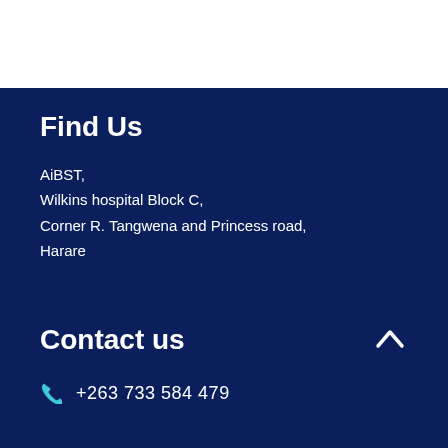Find Us
AiBST,
Wilkins hospital Block C,
Corner R. Tangwena and Princess road,
Harare
Contact us
+263 733 584 479